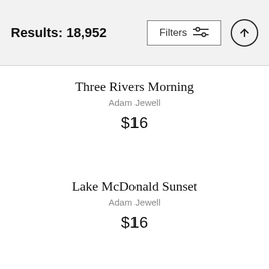Results: 18,952
Three Rivers Morning
Adam Jewell
$16
Lake McDonald Sunset
Adam Jewell
$16
In Between Meals
Adam Jewell
$16